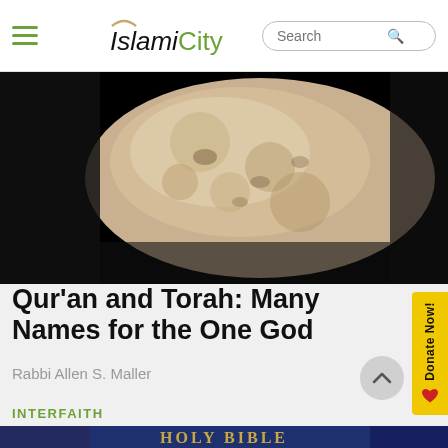IslamiCity
[Figure (photo): Close-up of a rough, textured stone or rock fragment against a black background]
Qur'an and Torah: Many Names for the One God
Rabbi Allen S. Maller
INTERFAITH
[Figure (photo): Holy Bible book cover with blue binding, Torah text visible underneath, and another blue book to the right]